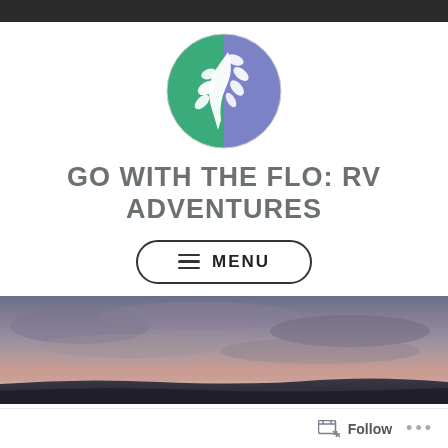[Figure (logo): Circular yin-yang style logo with green and purple-blue halves, featuring a white plant/tree with leaves in the center]
GO WITH THE FLO: RV ADVENTURES
≡ MENU
[Figure (photo): Panoramic landscape photo showing a dramatic sky with clouds, pinkish and purple hues near the horizon, dark land silhouette at the bottom]
Follow ...